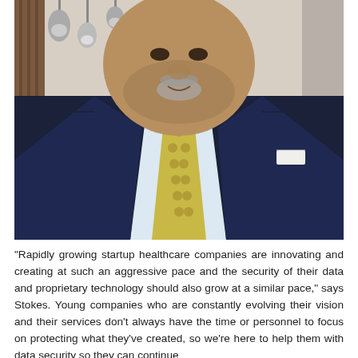[Figure (photo): Close-up photo of a man in a dark navy suit with a gold/yellow patterned tie and white dress shirt, white pocket square visible. The man has a short grey beard and is smiling slightly. Background shows pendant lights in what appears to be a restaurant or office setting.]
"Rapidly growing startup healthcare companies are innovating and creating at such an aggressive pace and the security of their data and proprietary technology should also grow at a similar pace," says Stokes. Young companies who are constantly evolving their vision and their services don't always have the time or personnel to focus on protecting what they've created, so we're here to help them with data security so they can continue